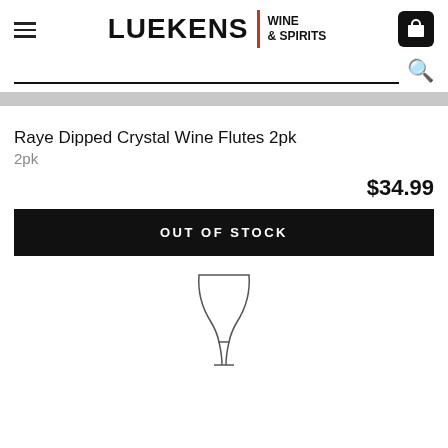LUEKENS WINE & SPIRITS
Raye Dipped Crystal Wine Flutes 2pk
2pk
$34.99
OUT OF STOCK
[Figure (illustration): Line drawing of a wine decanter/flute glass, transparent outline on white background]